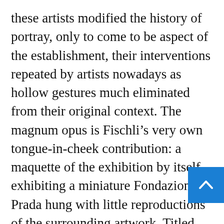these artists modified the history of portray, only to come to be aspect of the establishment, their interventions repeated by artists nowadays as hollow gestures much eliminated from their original context. The magnum opus is Fischli’s very own tongue-in-cheek contribution: a maquette of the exhibition by itself, exhibiting a miniature Fondazione Prada hung with little reproductions of the surrounding artwork. Titled “Modellone” (2021), the function reifies the full conceit of the exhibition: that is, the big difference among illustration and the point itself. Fischli factors to the paradox that he, way too, is participating in the exact endeavor to get previous the object — and that in spite of the momentary indicating glea from its curation, the present will inevitably be lessened to its aesthetics.